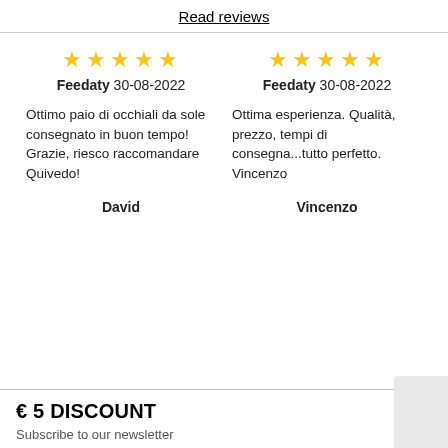Read reviews
★★★★★ Feedaty 30-08-2022
Ottimo paio di occhiali da sole consegnato in buon tempo! Grazie, riesco raccomandare Quivedo!
David
★★★★★ Feedaty 30-08-2022
Ottima esperienza. Qualità, prezzo, tempi di consegna...tutto perfetto. Vincenzo
Vincenzo
€ 5 DISCOUNT
Subscribe to our newsletter